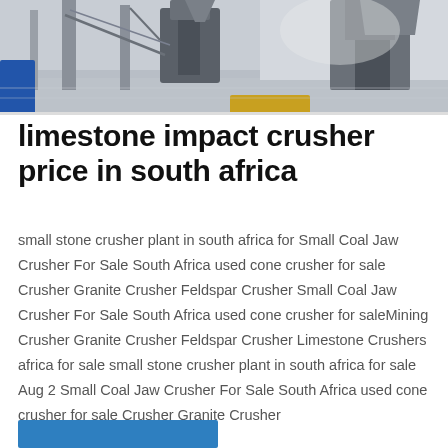[Figure (photo): Industrial crushing facility interior showing large metal machinery, support columns, and a polished concrete floor under bright lighting]
limestone impact crusher price in south africa
small stone crusher plant in south africa for Small Coal Jaw Crusher For Sale South Africa used cone crusher for sale Crusher Granite Crusher Feldspar Crusher Small Coal Jaw Crusher For Sale South Africa used cone crusher for saleMining Crusher Granite Crusher Feldspar Crusher Limestone Crushers africa for sale small stone crusher plant in south africa for sale Aug 2 Small Coal Jaw Crusher For Sale South Africa used cone crusher for sale Crusher Granite Crusher